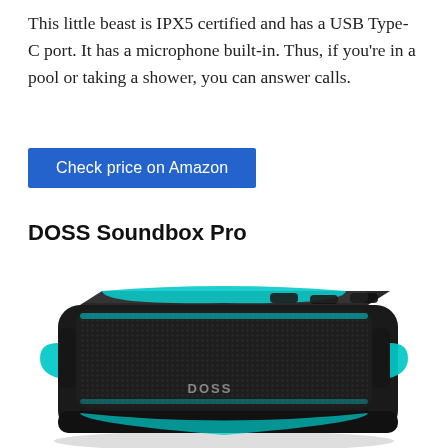This little beast is IPX5 certified and has a USB Type-C port. It has a microphone built-in. Thus, if you're in a pool or taking a shower, you can answer calls.
Check price on Amazon
DOSS Soundbox Pro
[Figure (photo): DOSS Soundbox Pro Bluetooth speaker with cyan/teal LED lighting ring around the speaker grille, viewed from a front-left angle on a white background.]